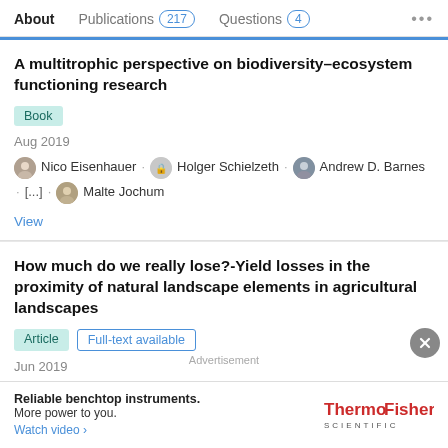About   Publications 217   Questions 4   ...
A multitrophic perspective on biodiversity–ecosystem functioning research
Book
Aug 2019
Nico Eisenhauer · Holger Schielzeth · Andrew D. Barnes · [...] · Malte Jochum
View
How much do we really lose?-Yield losses in the proximity of natural landscape elements in agricultural landscapes
Article   Full-text available
Jun 2019
Larissa Raatz · Nina Bacchi · Karin Pirhofer-Walzl · [...] · Christoph Scherber
Advertisement
Reliable benchtop instruments. More power to you. Watch video ›  ThermoFisher SCIENTIFIC